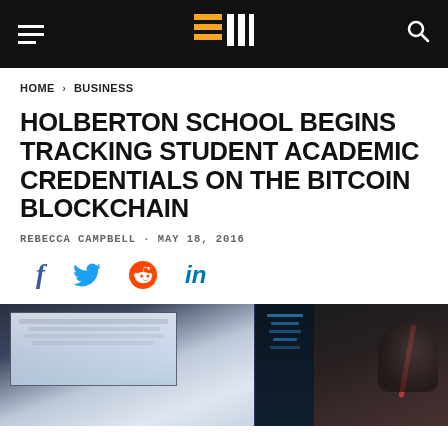Navigation bar with hamburger menu, site logo, and search icon
HOME › BUSINESS
HOLBERTON SCHOOL BEGINS TRACKING STUDENT ACADEMIC CREDENTIALS ON THE BITCOIN BLOCKCHAIN
REBECCA CAMPBELL · MAY 18, 2016
Social share icons: Facebook, Twitter, Reddit, LinkedIn
[Figure (photo): Photo showing a person working at a computer with multiple screens displaying what appears to be a blockchain or data interface, with a red cable visible]